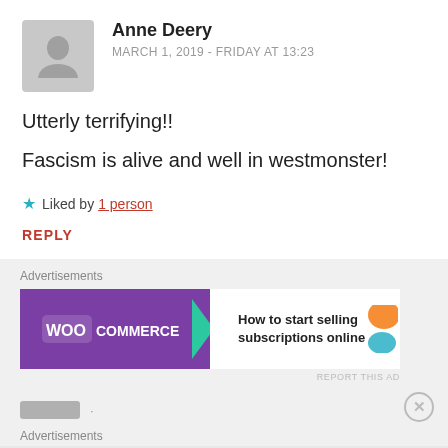[Figure (illustration): Gray placeholder avatar icon (person silhouette) in a rounded square]
Anne Deery
MARCH 1, 2019 - FRIDAY AT 13:23
Utterly terrifying!!
Fascism is alive and well in westmonster!
★ Liked by 1 person
REPLY
Advertisements
[Figure (logo): WooCommerce advertisement banner: purple left section with WooCommerce logo and green arrow, white right section with text 'How to start selling subscriptions online' and orange/teal decorative shapes]
REPORT THIS AD
Advertisements
REPORT THIS AD